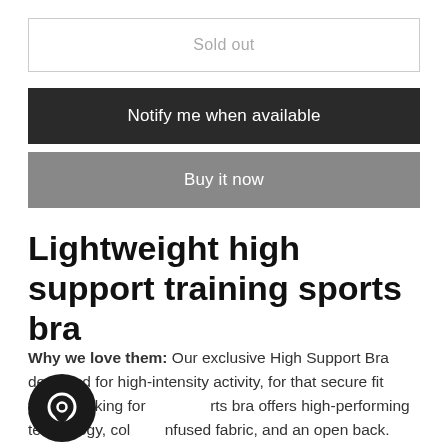Sold out
Notify me when available
Buy it now
Lightweight high support training sports bra
Why we love them: Our exclusive High Support Bra designed for high-intensity activity, for that secure fit you're looking for. Our sports bra offers high-performing technology, collagen-infused fabric, and an open back.